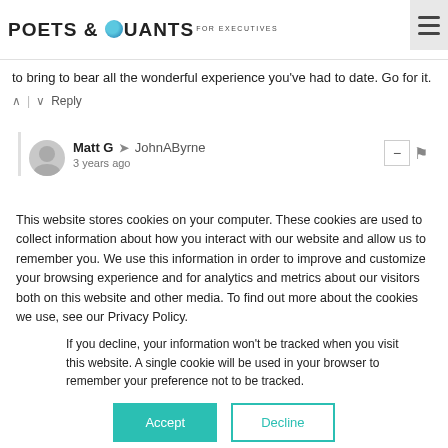POETS & QUANTS FOR EXECUTIVES
to bring to bear all the wonderful experience you've had to date. Go for it.
Reply
Matt G → JohnAByrne
3 years ago
Great to hear the encouragement for this prospective
This website stores cookies on your computer. These cookies are used to collect information about how you interact with our website and allow us to remember you. We use this information in order to improve and customize your browsing experience and for analytics and metrics about our visitors both on this website and other media. To find out more about the cookies we use, see our Privacy Policy.
If you decline, your information won't be tracked when you visit this website. A single cookie will be used in your browser to remember your preference not to be tracked.
Accept
Decline